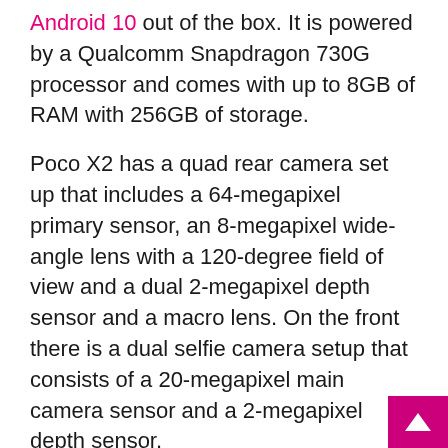Android 10 out of the box. It is powered by a Qualcomm Snapdragon 730G processor and comes with up to 8GB of RAM with 256GB of storage.
Poco X2 has a quad rear camera set up that includes a 64-megapixel primary sensor, an 8-megapixel wide-angle lens with a 120-degree field of view and a dual 2-megapixel depth sensor and a macro lens. On the front there is a dual selfie camera setup that consists of a 20-megapixel main camera sensor and a 2-megapixel depth sensor.
The device houses a 4,500mAh battery with 27W fast charging technology support. There is also a side-mounted fingerprint sensor for authentication.
For the latest gadget and tech news, and gadget